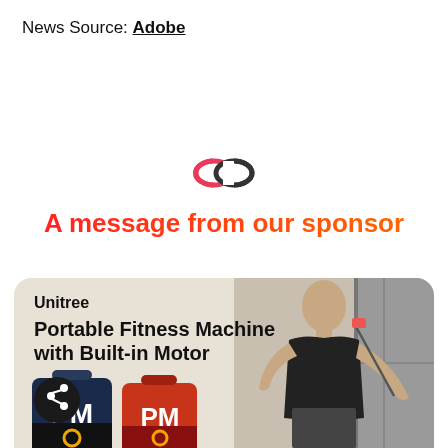News Source: Adobe
[Figure (illustration): Two linked chain-link circles icon in red and dark gray, representing a sponsor/link symbol]
A message from our sponsor
[Figure (photo): Advertisement card with rounded corners on a beige/tan background. Shows 'Unitree' brand name, text 'Portable Fitness Machine with Built-in Motor', a share button (dark circle with share icon), a man in black tank top using a cable resistance machine, and two PM-branded fitness machine bags at the bottom.]